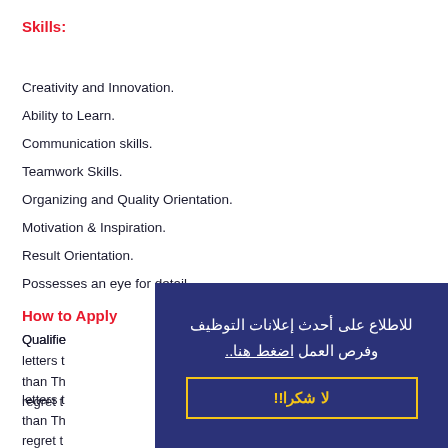Skills:
Creativity and Innovation.
Ability to Learn.
Communication skills.
Teamwork Skills.
Organizing and Quality Orientation.
Motivation & Inspiration.
Result Orientation.
Possesses an eye for detail.
How to Apply
Qualified candidates are invited to submit their CV and cover letters to... no later than Thu... We regret t...
[Figure (other): Arabic language overlay popup on dark blue background with text 'للاطلاع على أحدث إعلانات التوظيف وفرص العمل اضغط هنا..' and a yellow-bordered button 'لا شكرا!!']